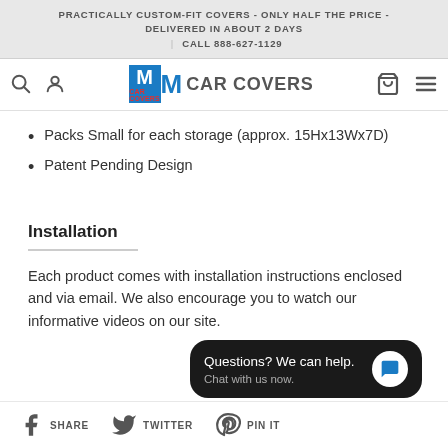PRACTICALLY CUSTOM-FIT COVERS - ONLY HALF THE PRICE - DELIVERED IN ABOUT 2 DAYS | CALL 888-627-1129
[Figure (logo): M Car Covers logo with blue M and grey text]
Packs Small for each storage (approx. 15Hx13Wx7D)
Patent Pending Design
Installation
Each product comes with installation instructions enclosed and via email. We also encourage you to watch our informative videos on our site.
[Figure (infographic): Chat widget: Questions? We can help. Chat with us now.]
SHARE  TWITTER  PIN IT (social icons)